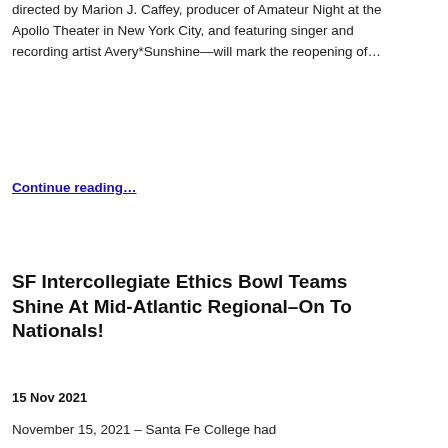directed by Marion J. Caffey, producer of Amateur Night at the Apollo Theater in New York City, and featuring singer and recording artist Avery*Sunshine—will mark the reopening of…
Continue reading…
SF Intercollegiate Ethics Bowl Teams Shine At Mid-Atlantic Regional–On To Nationals!
15 Nov 2021
November 15, 2021 – Santa Fe College had